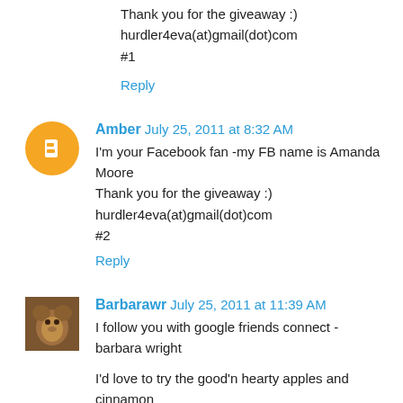Thank you for the giveaway :)
hurdler4eva(at)gmail(dot)com
#1
Reply
Amber  July 25, 2011 at 8:32 AM
I'm your Facebook fan -my FB name is Amanda Moore
Thank you for the giveaway :)
hurdler4eva(at)gmail(dot)com
#2
Reply
Barbarawr  July 25, 2011 at 11:39 AM
I follow you with google friends connect - barbara wright
I'd love to try the good'n hearty apples and cinnamon
Email address is in blogger profile
Reply